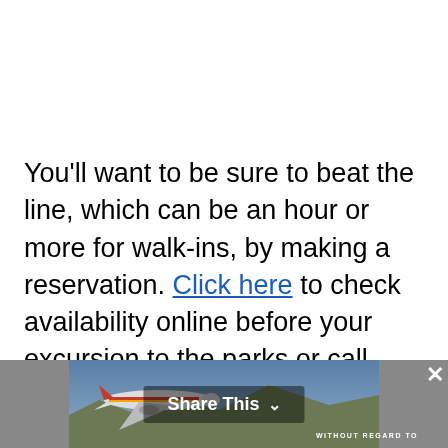You'll want to be sure to beat the line, which can be an hour or more for walk-ins, by making a reservation. Click here to check availability online before your excursion to the parks or call 714-781-DINE (714-781-3463).
This website uses cookies to improve your experience, but you
[Figure (photo): Share This overlay bar with a photo of a plane/aircraft, a Share This button with chevron, watermark text reading WITHOUT REGARD TO, and a close (x) button.]